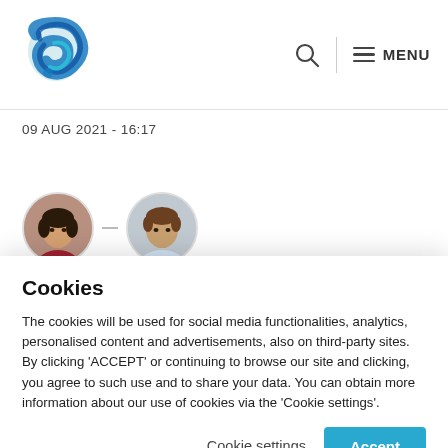[Figure (logo): Blue swirl/wave logo icon resembling a stylized letter C]
MENU
09 AUG 2021 - 16:17
[Figure (photo): Two circular author avatar photos side by side: woman with dark hair in red top, man with brown hair in light shirt]
[Figure (other): Partially visible social media share buttons (Twitter/X, Facebook, LinkedIn)]
Cookies
The cookies will be used for social media functionalities, analytics, personalised content and advertisements, also on third-party sites. By clicking 'ACCEPT' or continuing to browse our site and clicking, you agree to such use and to share your data. You can obtain more information about our use of cookies via the 'Cookie settings'.
Cookie settings
Accept